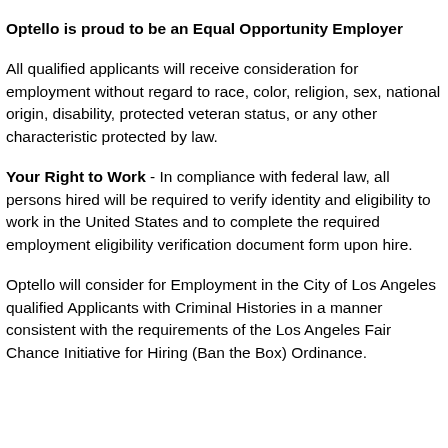Optello is proud to be an Equal Opportunity Employer
All qualified applicants will receive consideration for employment without regard to race, color, religion, sex, national origin, disability, protected veteran status, or any other characteristic protected by law.
Your Right to Work - In compliance with federal law, all persons hired will be required to verify identity and eligibility to work in the United States and to complete the required employment eligibility verification document form upon hire.
Optello will consider for Employment in the City of Los Angeles qualified Applicants with Criminal Histories in a manner consistent with the requirements of the Los Angeles Fair Chance Initiative for Hiring (Ban the Box) Ordinance.